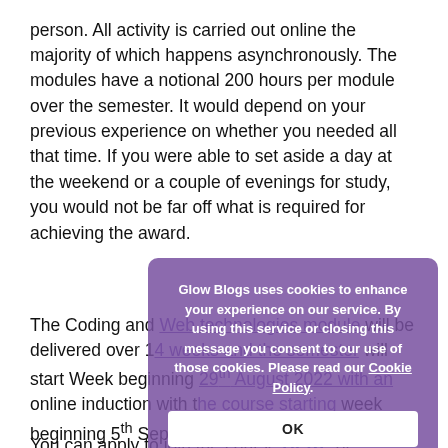lectures are recorded for students unable to attend in person. All activity is carried out online the majority of which happens asynchronously. The modules have a notional 200 hours per module over the semester. It would depend on your previous experience on whether you needed all that time. If you were able to set aside a day at the weekend or a couple of evenings for study, you would not be far off what is required for achieving the award.
The Coding and Web technologies module will be delivered over 14 weeks and the semester will start Week beginning 29th August 2022 with an online induction with the course starting week beginning 5th September
[Figure (screenshot): Cookie consent overlay popup with purple background. Text reads: 'Glow Blogs uses cookies to enhance your experience on our service. By using this service or closing this message you consent to our use of those cookies. Please read our Cookie Policy.' with an OK button.]
You can apply to join the course HERE or searching